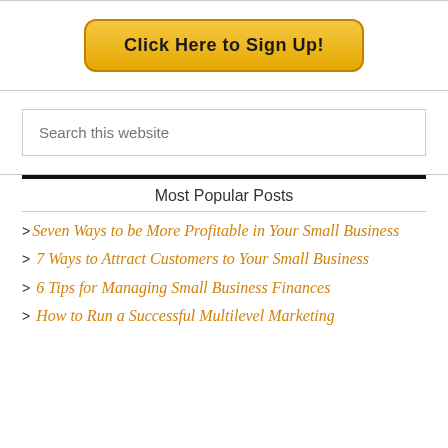[Figure (other): Yellow gradient button with bold text 'Click Here to Sign Up!']
Search this website
Most Popular Posts
Seven Ways to be More Profitable in Your Small Business
7 Ways to Attract Customers to Your Small Business
6 Tips for Managing Small Business Finances
How to Run a Successful Multilevel Marketing